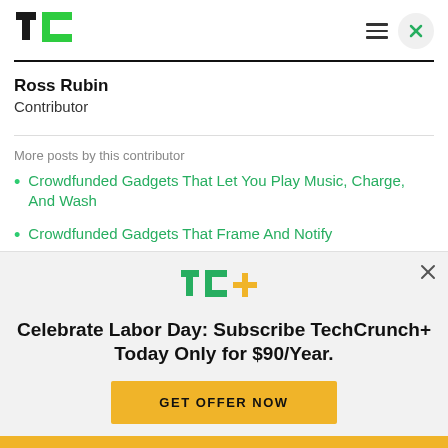TechCrunch logo, hamburger menu, close button
Ross Rubin
Contributor
More posts by this contributor
Crowdfunded Gadgets That Let You Play Music, Charge, And Wash
Crowdfunded Gadgets That Frame And Notify
[Figure (logo): TechCrunch+ logo (TC+ in green and yellow)]
Celebrate Labor Day: Subscribe TechCrunch+ Today Only for $90/Year.
GET OFFER NOW